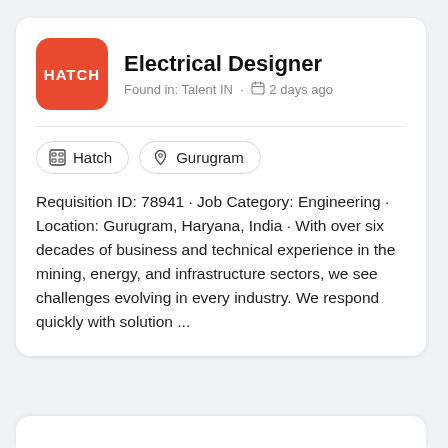[Figure (logo): Hatch company logo: red rounded square with white HATCH text]
Electrical Designer
Found in: Talent IN · 2 days ago
Hatch
Gurugram
Requisition ID: 78941 · Job Category: Engineering · Location: Gurugram, Haryana, India · With over six decades of business and technical experience in the mining, energy, and infrastructure sectors, we see challenges evolving in every industry. We respond quickly with solution ...